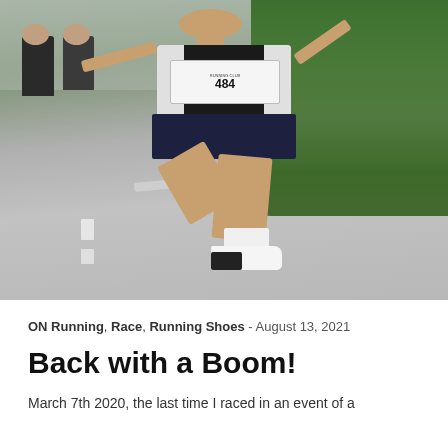[Figure (photo): A runner wearing race bib number 484 in a black vest and dark shorts running on a road during a race event, with green hedges on the right side and other runners visible in the background.]
ON Running, Race, Running Shoes - August 13, 2021
Back with a Boom!
March 7th 2020, the last time I raced in an event of a